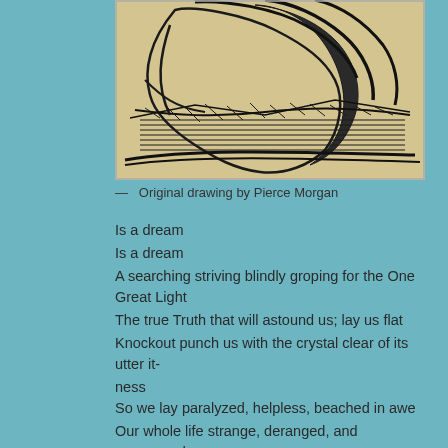[Figure (illustration): Original ink drawing by Pierce Morgan showing abstract figure forms with heavy cross-hatching and bold curved lines on aged paper background]
— Original drawing by Pierce Morgan
Is a dream
Is a dream
A searching striving blindly groping for the One Great Light
The true Truth that will astound us; lay us flat
Knockout punch us with the crystal clear of its utter it-ness
So we lay paralyzed, helpless, beached in awe
Our whole life strange, deranged, and rearranged